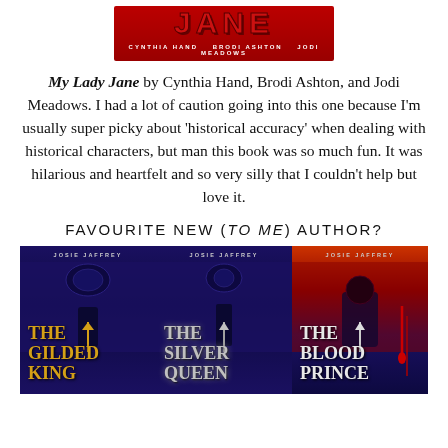[Figure (illustration): Book cover of 'My Lady Jane' showing the title in large red letters with author names Cynthia Hand, Brodi Ashton, Jodi Meadows below]
My Lady Jane by Cynthia Hand, Brodi Ashton, and Jodi Meadows. I had a lot of caution going into this one because I'm usually super picky about 'historical accuracy' when dealing with historical characters, but man this book was so much fun. It was hilarious and heartfelt and so very silly that I couldn't help but love it.
FAVOURITE NEW (TO ME) AUTHOR?
[Figure (illustration): Three book covers by Josie Jaffrey: The Gilded King, The Silver Queen, The Blood Prince — all with dark blue/purple fantasy art backgrounds and stylized gold/silver/white text titles]